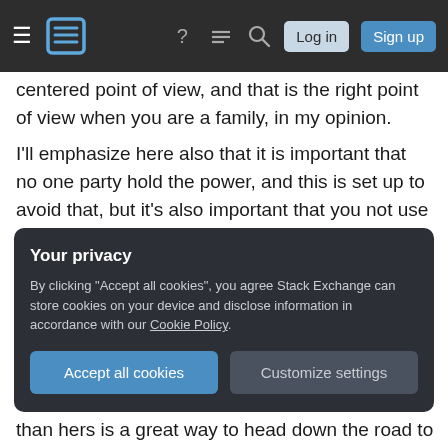Stack Exchange navigation bar with hamburger menu, logo, help, chat, search icons, Log in and Sign up buttons
centered point of view, and that is the right point of view when you are a family, in my opinion.
I'll emphasize here also that it is important that no one party hold the power, and this is set up to avoid that, but it's also important that you not use your earning power as a major arguing point in this system. You're not "funding her lifestyle" or anything like that: you're supporting your family, just as she is. If she were earning more than you, would you cut your hours and stay at home?
Your privacy
By clicking "Accept all cookies", you agree Stack Exchange can store cookies on your device and disclose information in accordance with our Cookie Policy.
Accept all cookies
Customize settings
than hers is a great way to head down the road to